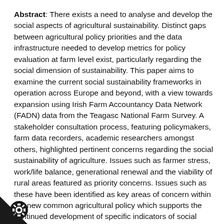Abstract: There exists a need to analyse and develop the social aspects of agricultural sustainability. Distinct gaps between agricultural policy priorities and the data infrastructure needed to develop metrics for policy evaluation at farm level exist, particularly regarding the social dimension of sustainability. This paper aims to examine the current social sustainability frameworks in operation across Europe and beyond, with a view towards expansion using Irish Farm Accountancy Data Network (FADN) data from the Teagasc National Farm Survey. A stakeholder consultation process, featuring policymakers, farm data recorders, academic researchers amongst others, highlighted pertinent concerns regarding the social sustainability of agriculture. Issues such as farmer stress, work/life balance, generational renewal and the viability of rural areas featured as priority concerns. Issues such as these have been identified as key areas of concern within the new common agricultural policy which supports the continued development of specific indicators of social sustainability.
Keywords: agricultural sustainability; sustainability indicators; stakeholder consultation; farmer wellbeing; rural viability; generational renewal; rural isolation; social sustainability;